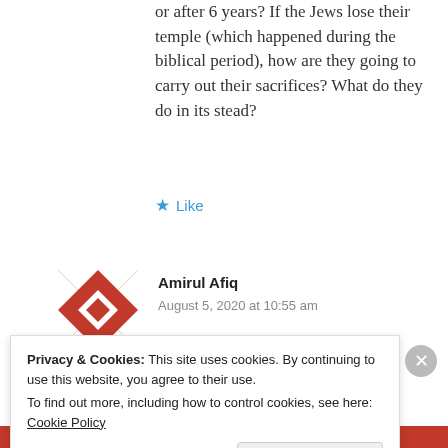or after 6 years? If the Jews lose their temple (which happened during the biblical period), how are they going to carry out their sacrifices? What do they do in its stead?
Like
[Figure (illustration): Red and white geometric mosaic avatar icon for user Amirul Afiq]
Amirul Afiq
August 5, 2020 at 10:55 am
Privacy & Cookies: This site uses cookies. By continuing to use this website, you agree to their use.
To find out more, including how to control cookies, see here: Cookie Policy
Close and accept